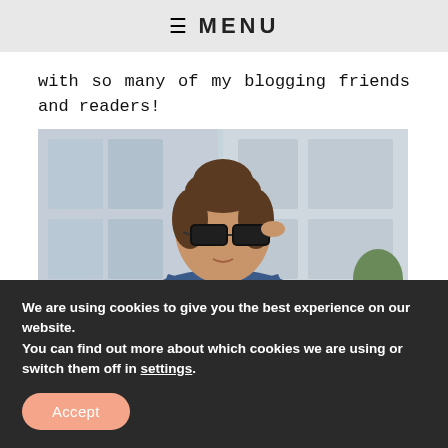≡ MENU
with so many of my blogging friends and readers!
[Figure (photo): Young woman with sunglasses and a bun hairstyle, wearing a denim jacket and red top, adjusting her sunglasses outdoors]
We are using cookies to give you the best experience on our website.
You can find out more about which cookies we are using or switch them off in settings.
Accept